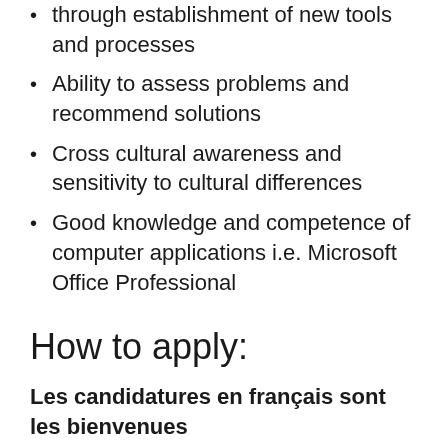through establishment of new tools and processes
Ability to assess problems and recommend solutions
Cross cultural awareness and sensitivity to cultural differences
Good knowledge and competence of computer applications i.e. Microsoft Office Professional
How to apply:
Les candidatures en français sont les bienvenues
All applications should be submitted through our website at https://jobs.concern.net by closing date. CV's should be no more than 4